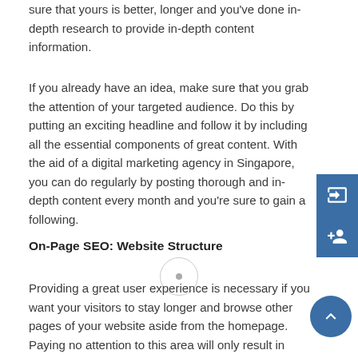sure that yours is better, longer and you've done in-depth research to provide in-depth content information.
If you already have an idea, make sure that you grab the attention of your targeted audience. Do this by putting an exciting headline and follow it by including all the essential components of great content. With the aid of a digital marketing agency in Singapore, you can do regularly by posting thorough and in-depth content every month and you're sure to gain a following.
On-Page SEO: Website Structure
Providing a great user experience is necessary if you want your visitors to stay longer and browse other pages of your website aside from the homepage. Paying no attention to this area will only result in higher bounce rates, so make sure that users can easily navigate your pages. In addition to having a fast loading time, it would help if your site has a mobile-friendly design. Not only is this a ranking factor but when you optimize your website to deliver a great search engine experience, you're making your site more accessible to Google which